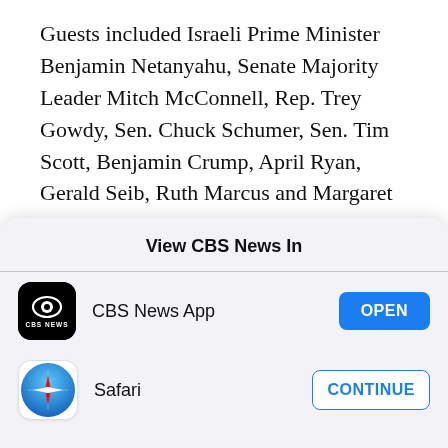Guests included Israeli Prime Minister Benjamin Netanyahu, Senate Majority Leader Mitch McConnell, Rep. Trey Gowdy, Sen. Chuck Schumer, Sen. Tim Scott, Benjamin Crump, April Ryan, Gerald Seib, Ruth Marcus and Margaret Brennan.
March 1, 2015
Guests included House Speaker John Boehner,
View CBS News In
CBS News App
OPEN
[Figure (logo): CBS News app icon — black rounded square with CBS eye logo and CBS NEWS text]
Safari
CONTINUE
[Figure (logo): Safari browser icon — blue gradient circle with compass/arrow logo]